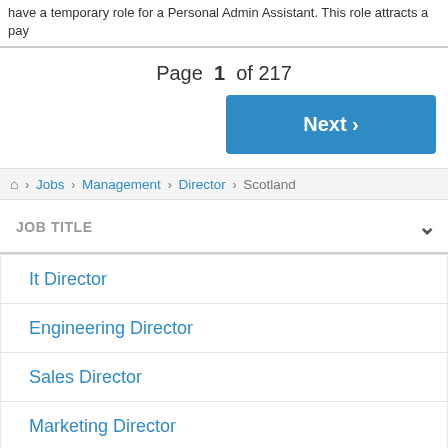have a temporary role for a Personal Admin Assistant. This role attracts a pay
Page 1 of 217
Next >
🏠 › Jobs › Management › Director › Scotland
JOB TITLE
It Director
Engineering Director
Sales Director
Marketing Director